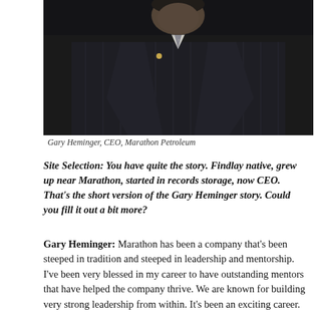[Figure (photo): Portrait photo of Gary Heminger, CEO of Marathon Petroleum, wearing a dark pinstripe suit with a gold lapel pin and a grey patterned tie, shown from chest up against a dark background.]
Gary Heminger, CEO, Marathon Petroleum
Site Selection: You have quite the story. Findlay native, grew up near Marathon, started in records storage, now CEO. That's the short version of the Gary Heminger story. Could you fill it out a bit more?
Gary Heminger: Marathon has been a company that's been steeped in tradition and steeped in leadership and mentorship. I've been very blessed in my career to have outstanding mentors that have helped the company thrive. We are known for building very strong leadership from within. It's been an exciting career.